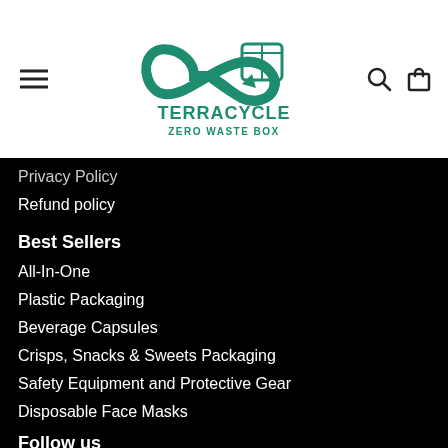[Figure (logo): TerraCycle Zero Waste Box logo with infinity arrow and cube icon in teal/green]
Privacy Policy
Refund policy
Best Sellers
All-In-One
Plastic Packaging
Beverage Capsules
Crisps, Snacks & Sweets Packaging
Safety Equipment and Protective Gear
Disposable Face Masks
Follow us